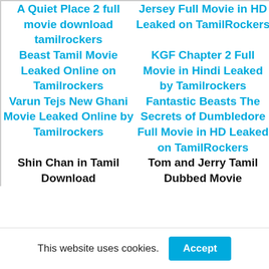A Quiet Place 2 full movie download tamilrockers
Jersey Full Movie in HD Leaked on TamilRockers
Beast Tamil Movie Leaked Online on Tamilrockers
KGF Chapter 2 Full Movie in Hindi Leaked by Tamilrockers
Varun Tejs New Ghani Movie Leaked Online by Tamilrockers
Fantastic Beasts The Secrets of Dumbledore Full Movie in HD Leaked on TamilRockers
Shin Chan in Tamil Download
Tom and Jerry Tamil Dubbed Movie
This website uses cookies.
Accept